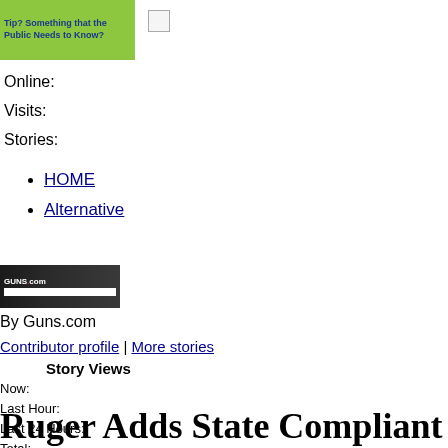[Figure (screenshot): Green speech bubble graphic with text about tips and stories for the public]
[Figure (screenshot): Small broken image icon placeholder]
Online:
Visits:
Stories:
HOME
Alternative
[Figure (screenshot): Thumbnail screenshot of Guns.com website]
By Guns.com
Contributor profile | More stories
Story Views
Now:
Last Hour:
Last 24 Hours:
Total:
Ruger Adds State Compliant